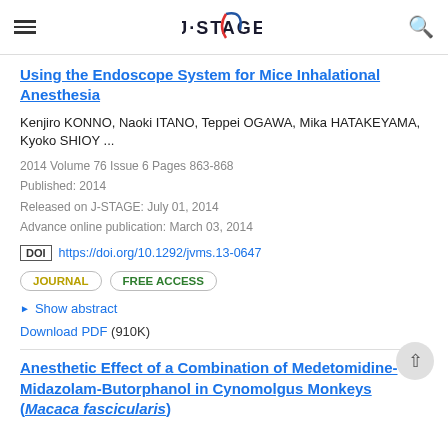J-STAGE
Using the Endoscope System for Mice Inhalational Anesthesia
Kenjiro KONNO, Naoki ITANO, Teppei OGAWA, Mika HATAKEYAMA, Kyoko SHIOY ...
2014 Volume 76 Issue 6 Pages 863-868
Published: 2014
Released on J-STAGE: July 01, 2014
Advance online publication: March 03, 2014
DOI https://doi.org/10.1292/jvms.13-0647
JOURNAL  FREE ACCESS
▶ Show abstract
Download PDF (910K)
Anesthetic Effect of a Combination of Medetomidine-Midazolam-Butorphanol in Cynomolgus Monkeys (Macaca fascicularis)